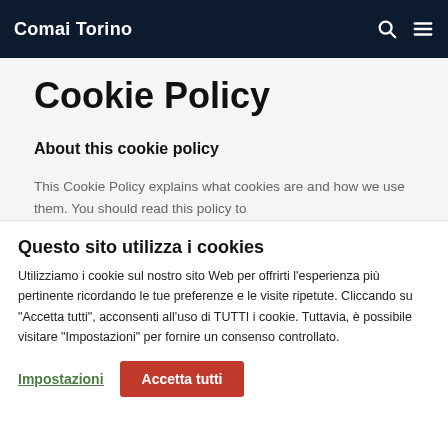Comai Torino
Cookie Policy
About this cookie policy
This Cookie Policy explains what cookies are and how we use them. You should read this policy to
Questo sito utilizza i cookies
Utilizziamo i cookie sul nostro sito Web per offrirti l'esperienza più pertinente ricordando le tue preferenze e le visite ripetute. Cliccando su "Accetta tutti", acconsenti all'uso di TUTTI i cookie. Tuttavia, è possibile visitare "Impostazioni" per fornire un consenso controllato.
Impostazioni
Accetta tutti